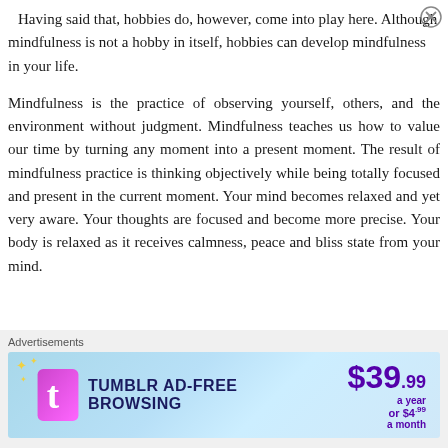Having said that, hobbies do, however, come into play here. Although mindfulness is not a hobby in itself, hobbies can develop mindfulness in your life.
Mindfulness is the practice of observing yourself, others, and the environment without judgment. Mindfulness teaches us how to value our time by turning any moment into a present moment. The result of mindfulness practice is thinking objectively while being totally focused and present in the current moment. Your mind becomes relaxed and yet very aware. Your thoughts are focused and become more precise. Your body is relaxed as it receives calmness, peace and bliss state from your mind.
[Figure (other): Tumblr Ad-Free Browsing advertisement banner. $39.99 a year or $4.99 a month. Shows Tumblr logo with sparkles and gradient blue background.]